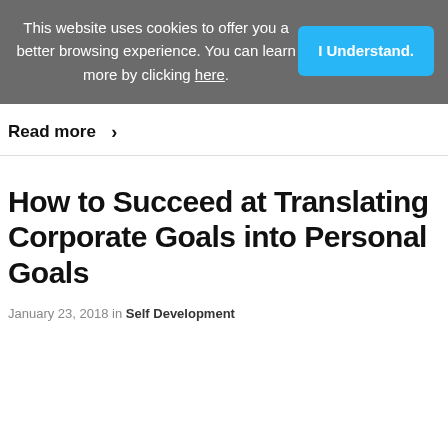This website uses cookies to offer you a better browsing experience. You can learn more by clicking here.
I Understand.
Read more ›
How to Succeed at Translating Corporate Goals into Personal Goals
January 23, 2018 in Self Development